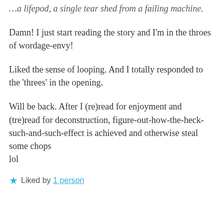…a lifepod, a single tear shed from a failing machine.
Damn! I just start reading the story and I'm in the throes of wordage-envy!
Liked the sense of looping. And I totally responded to the 'threes' in the opening.
Will be back. After I (re)read for enjoyment and (tre)read for deconstruction, figure-out-how-the-heck-such-and-such-effect is achieved and otherwise steal some chops
lol
★ Liked by 1 person